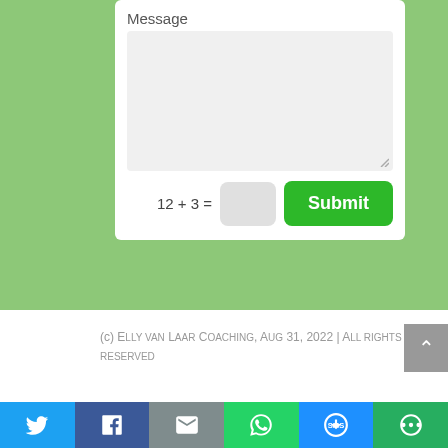[Figure (screenshot): Web contact form showing a message textarea with placeholder text 'Message', a CAPTCHA field showing '12 + 3 =', a grey input box, and a green 'Submit' button, all on a green background]
(c) Elly van Laar Coaching, Aug 31, 2022 | All rights reserved
[Figure (infographic): Social sharing bar with icons for Twitter (blue), Facebook (dark blue), Email (grey), WhatsApp (green), SMS (blue), and More/share (dark green)]